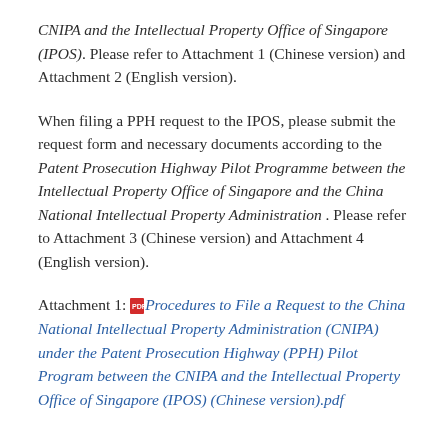CNIPA and the Intellectual Property Office of Singapore (IPOS). Please refer to Attachment 1 (Chinese version) and Attachment 2 (English version).
When filing a PPH request to the IPOS, please submit the request form and necessary documents according to the Patent Prosecution Highway Pilot Programme between the Intellectual Property Office of Singapore and the China National Intellectual Property Administration . Please refer to Attachment 3 (Chinese version) and Attachment 4 (English version).
Attachment 1: Procedures to File a Request to the China National Intellectual Property Administration (CNIPA) under the Patent Prosecution Highway (PPH) Pilot Program between the CNIPA and the Intellectual Property Office of Singapore (IPOS) (Chinese version).pdf